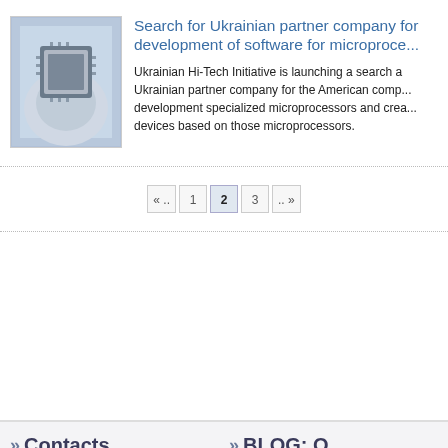Search for Ukrainian partner company for development of software for microprocessors
[Figure (photo): Close-up photo of a hand holding a microprocessor chip against a light blue background]
Ukrainian Hi-Tech Initiative is launching a search a Ukrainian partner company for the American company development specialized microprocessors and creating devices based on those microprocessors.
« ..  1  2  3  .. »
>> Contacts
>> BLOG: ...
» Address: 4, Vatslava Gavela blvd., 03142,